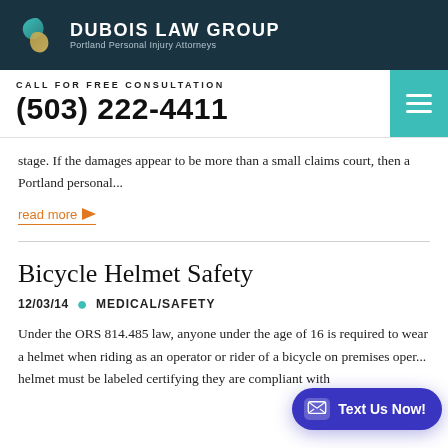DUBOIS LAW GROUP
Portland Personal Injury Attorneys
CALL FOR FREE CONSULTATION
(503) 222-4411
stage. If the damages appear to be more than a small claims court, then a Portland personal...
read more
Bicycle Helmet Safety
12/03/14  •  MEDICAL/SAFETY
Under the ORS 814.485 law, anyone under the age of 16 is required to wear a helmet when riding as an operator or rider of a bicycle on premises oper... helmet must be labeled certifying they are compliant with